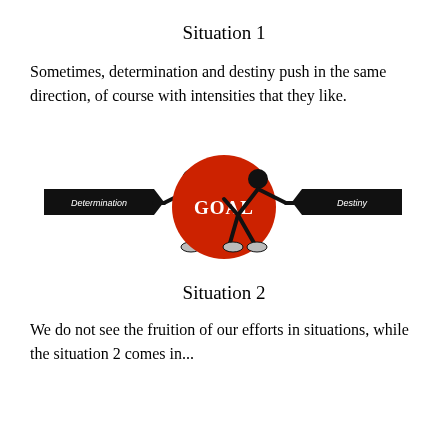Situation 1
Sometimes, determination and destiny push in the same direction, of course with intensities that they like.
[Figure (illustration): Two stick figures, one labeled 'Determination' on the left and one labeled 'Destiny' on the right, both pushing toward a large red circle in the center labeled 'GOAL'.]
Situation 2
We do not see the fruition of our efforts in situations, while the situation 2 comes in...